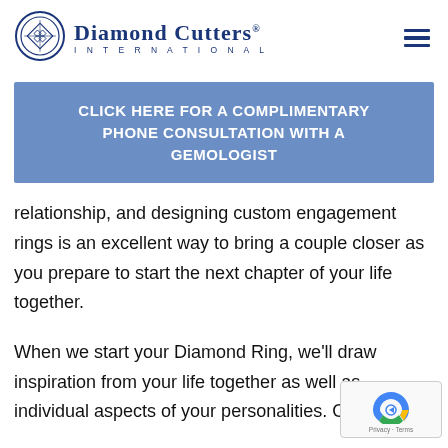[Figure (logo): Diamond Cutters International logo with circular ornamental emblem and brand name]
CLICK HERE FOR A COMPLIMENTARY PHONE CONSULTATION WITH A GEMOLOGIST
relationship, and designing custom engagement rings is an excellent way to bring a couple closer as you prepare to start the next chapter of your life together.
When we start your Diamond Ring, we'll draw inspiration from your life together as well as individual aspects of your personalities. Our je…